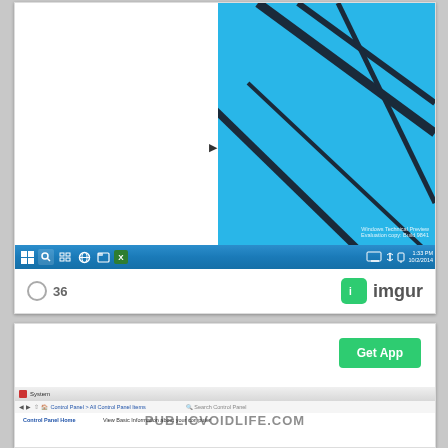[Figure (screenshot): Windows 10 Technical Preview (Build 9841) screenshot showing the Start Menu open on a white background with a search bar at the bottom, Windows taskbar in blue, and blue geometric wallpaper on the right side. Shows watermark: Windows Technical Preview, Evaluation copy: Build 9841. Footer shows view count of 36 and imgur branding.]
[Figure (screenshot): Partial screenshot of Windows Control Panel showing Get App button in green. Bottom shows Control Panel > All Control Panel Items path and 'View Basic Information about your computer' text. Overlaid with PUBLICVOIDLIFE.COM watermark text.]